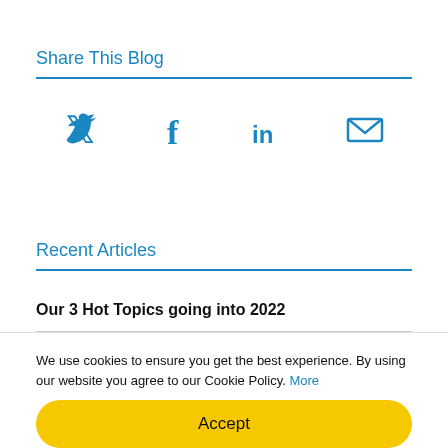Share This Blog
[Figure (infographic): Social media sharing icons: Twitter (bird), Facebook (f), LinkedIn (in), Email (envelope)]
Recent Articles
Our 3 Hot Topics going into 2022
Key Risk Identifiers in your cyber recruitment
DCL Search's collection of useful Penetration Testing
We use cookies to ensure you get the best experience. By using our website you agree to our Cookie Policy. More
Accept